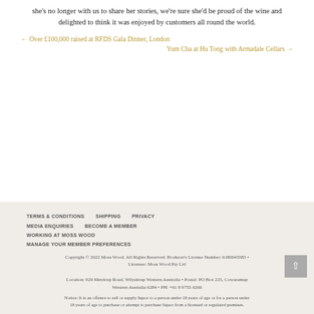she's no longer with us to share her stories, we're sure she'd be proud of the wine and delighted to think it was enjoyed by customers all round the world.
← Over £100,000 raised at RFDS Gala Dinner, London
Yum Cha at Hu Tong with Armadale Cellars →
TERMS & CONDITIONS   SHIPPING   PRIVACY   MEDIA ENQUIRIES   BECOME A MEMBER   WORKING AT MOSS WOOD   MANAGE YOUR MEMBER PREFERENCES

Copyright © 2022 Moss Wood. All Rights Reserved. Producer's License Number: 6180045583 • Licensee: Moss Wood Pty Ltd

Location: 926 Metricup Road, Wilyabrup Western Australia • Postal: PO Box 225, Cowaramup Western Australia 6284 • PH: +61 8 9755 6266

Notice: It is an offence to sell or supply liquor to a person under 18 years of age or for a person under 18 years of age to purchase or attempt to purchase liquor from a licensed or regulated premises.